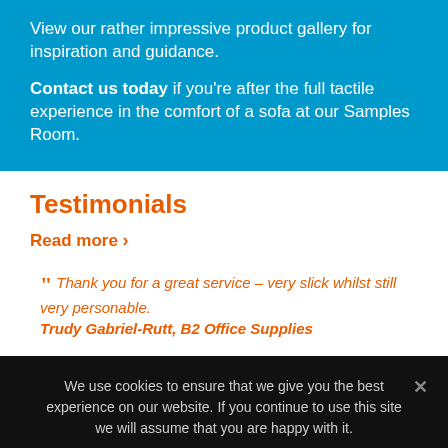View our rather impressive product gallery for inspiration and guidance.
Contact us today if you’re after the full tactile experience in the comfort of a sofa at our Samples Room.
Testimonials
Read more ›
“ Thank you for a great service – very slick whilst still very personable. Trudy Gabriel-Rutt, B2 Office Supplies
We use cookies to ensure that we give you the best experience on our website. If you continue to use this site we will assume that you are happy with it.
Agree   Privacy policy